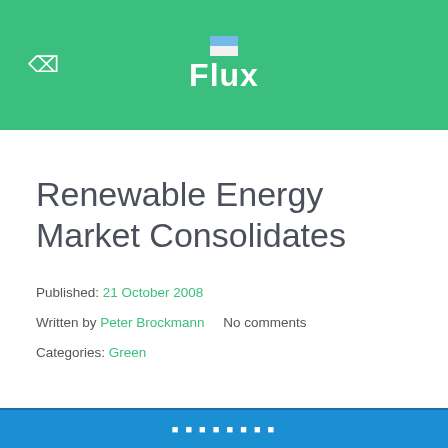Flux
Renewable Energy Market Consolidates
Published: 21 October 2008
Written by Peter Brockmann    No comments
Categories: Green
[Figure (screenshot): Bottom strip of a website screenshot, blue header bar with white text partially visible]